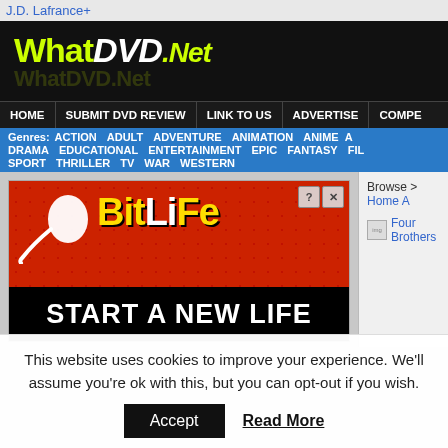J.D. Lafrance+
[Figure (logo): WhatDVD.Net logo in yellow-green and white italic text on black background]
HOME | SUBMIT DVD REVIEW | LINK TO US | ADVERTISE | COMPE...
Genres: ACTION ADULT ADVENTURE ANIMATION ANIME A DRAMA EDUCATIONAL ENTERTAINMENT EPIC FANTASY FIL SPORT THRILLER TV WAR WESTERN
[Figure (photo): BitLife advertisement - Start A New Life banner ad with sperm illustration on red background]
Browse > Home A
Four Brothers
This website uses cookies to improve your experience. We'll assume you're ok with this, but you can opt-out if you wish.
Accept   Read More